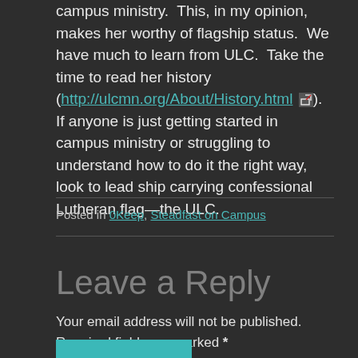campus ministry.  This, in my opinion, makes her worthy of flagship status.  We have much to learn from ULC.  Take the time to read her history (http://ulcmn.org/About/History.html). If anyone is just getting started in campus ministry or struggling to understand how to do it the right way, look to lead ship carrying confessional Lutheran flag—the ULC.
Posted in OKeep, Steadfast on Campus
Leave a Reply
Your email address will not be published. Required fields are marked *